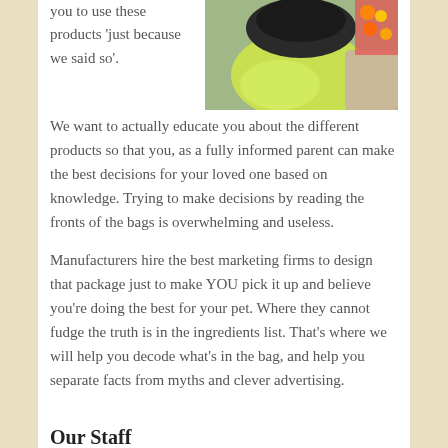you to use these products 'just because we said so'.
[Figure (photo): Person in a yellow/green high-visibility shirt holding something, photographed from above]
We want to actually educate you about the different products so that you, as a fully informed parent can make the best decisions for your loved one based on knowledge. Trying to make decisions by reading the fronts of the bags is overwhelming and useless.
Manufacturers hire the best marketing firms to design that package just to make YOU pick it up and believe you're doing the best for your pet. Where they cannot fudge the truth is in the ingredients list. That's where we will help you decode what's in the bag, and help you separate facts from myths and clever advertising.
Our Staff
Our staff is here to help you have a pleasant and